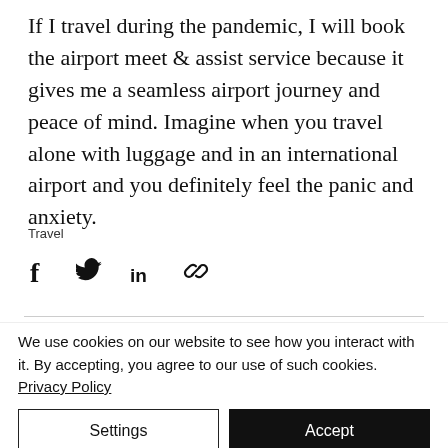If I travel during the pandemic, I will book the airport meet & assist service because it gives me a seamless airport journey and peace of mind. Imagine when you travel alone with luggage and in an international airport and you definitely feel the panic and anxiety.
Travel
[Figure (infographic): Social share icons: Facebook, Twitter, LinkedIn, link]
[Figure (infographic): Stats row: eye/views icon with count 0, comment icon, heart/like icon in red]
We use cookies on our website to see how you interact with it. By accepting, you agree to our use of such cookies. Privacy Policy
Settings
Accept